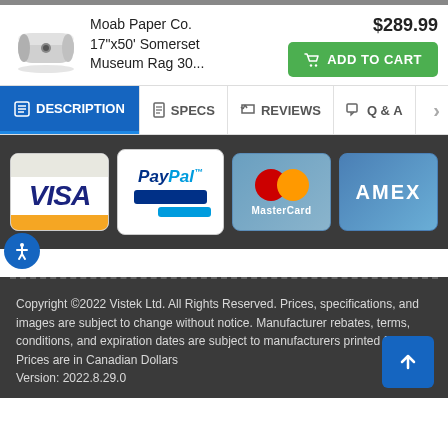[Figure (screenshot): Product listing showing paper roll image with title 'Moab Paper Co. 17"x50' Somerset Museum Rag 30...' priced at $289.99 with Add to Cart button]
[Figure (screenshot): Navigation tabs: DESCRIPTION (active, blue), SPECS, REVIEWS, Q & A with arrow]
[Figure (screenshot): Payment method logos: VISA, PayPal, MasterCard, AMEX on dark background]
Copyright ©2022 Vistek Ltd. All Rights Reserved. Prices, specifications, and images are subject to change without notice. Manufacturer rebates, terms, conditions, and expiration dates are subject to manufacturers printed forms. Prices are in Canadian Dollars
Version: 2022.8.29.0